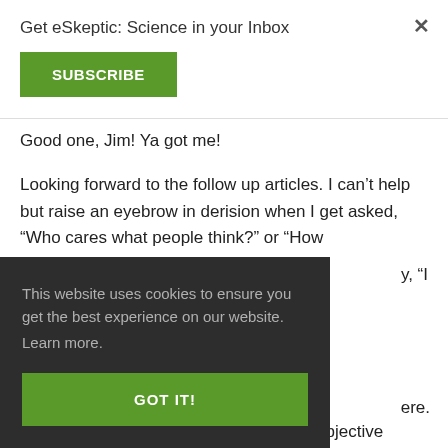Get eSkeptic: Science in your Inbox
SUBSCRIBE
×
Good one, Jim! Ya got me!
Looking forward to the follow up articles. I can't help but raise an eyebrow in derision when I get asked, “Who cares what people think?” or “How
y, “I
This website uses cookies to ensure you get the best experience on our website.
Learn more.
GOT IT!
ere.
You have always been one of the more objective